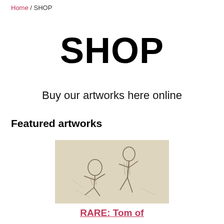Home / SHOP
SHOP
Buy our artworks here online
Featured artworks
[Figure (illustration): Pencil sketch of two figures, one seated and one standing, drawn in a classical style on aged paper background]
RARE: Tom of